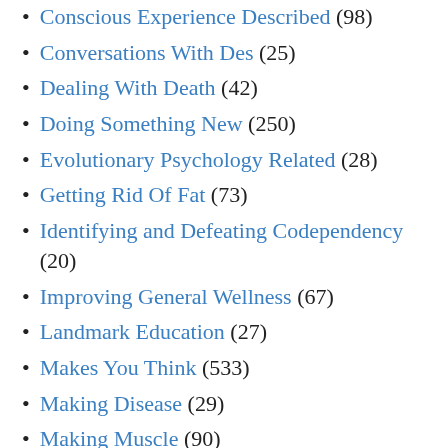Conscious Experience Described (98)
Conversations With Des (25)
Dealing With Death (42)
Doing Something New (250)
Evolutionary Psychology Related (28)
Getting Rid Of Fat (73)
Identifying and Defeating Codependency (20)
Improving General Wellness (67)
Landmark Education (27)
Makes You Think (533)
Making Disease (29)
Making Muscle (90)
Meditation Related (11)
Newstasis Post Revisited (17)
Pareto Distribution (1)